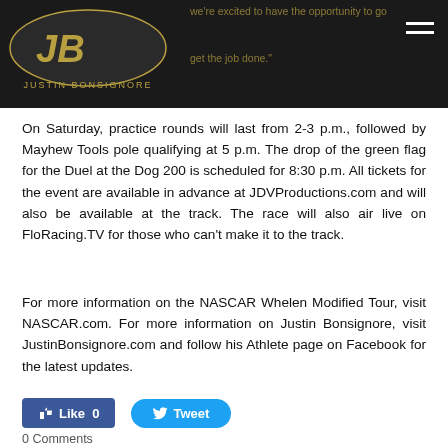we're excited to have the opportunity to go out there and get the job done.
On Saturday, practice rounds will last from 2-3 p.m., followed by Mayhew Tools pole qualifying at 5 p.m. The drop of the green flag for the Duel at the Dog 200 is scheduled for 8:30 p.m. All tickets for the event are available in advance at JDVProductions.com and will also be available at the track. The race will also air live on FloRacing.TV for those who can't make it to the track.
For more information on the NASCAR Whelen Modified Tour, visit NASCAR.com. For more information on Justin Bonsignore, visit JustinBonsignore.com and follow his Athlete page on Facebook for the latest updates.
[Figure (other): Facebook Like button (Like 0) and Twitter Tweet button]
0 Comments